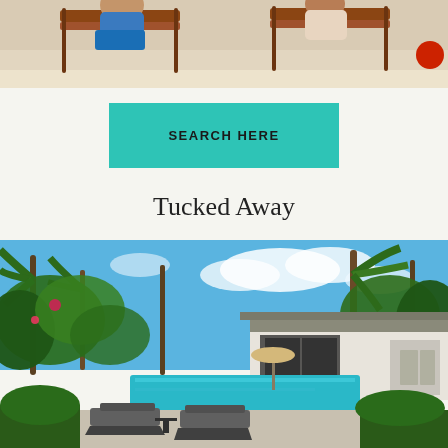[Figure (photo): Beach scene with people reclining on lounge chairs on white sand, cropped to show torsos and chairs from above, partial view at top of page]
SEARCH HERE
Tucked Away
[Figure (photo): Tropical vacation rental property with a long rectangular swimming pool, lounge chairs, lush palm trees, white house with screened porch in background, bright blue sky]